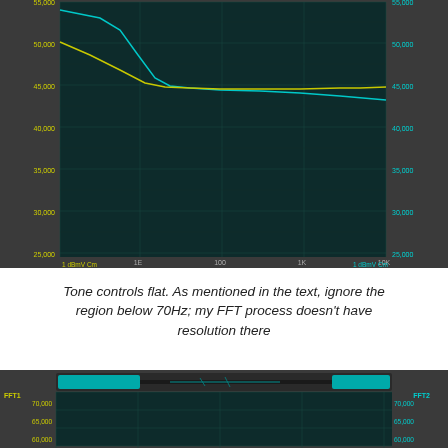[Figure (continuous-plot): Frequency response plot on dark teal/green grid background. Two curves: a teal/cyan line starting high (~55000) at low frequency and dropping steeply then leveling off around 44000-45000; a yellow/green line starting around 50000 and converging near the same level. Y-axis labels on both sides show values from ~20000 to 55000. X-axis shows frequency markers 1E, 100, 1K, 10K. Bottom left label '1 dBmV Cm', bottom right '1 dBmV Cm'.]
Tone controls flat. As mentioned in the text, ignore the region below 70Hz; my FFT process doesn't have resolution there
[Figure (screenshot): Lower frequency analysis panel with dark background. Shows a control bar at top with teal/cyan filled segments on left and right with a thin line in the middle. Left label 'FFT1', right label 'FFT2'. Y-axis on left shows values 70,000 down to 55,000. Right y-axis mirrors. Dark teal grid below. Mostly empty/flat response area visible.]